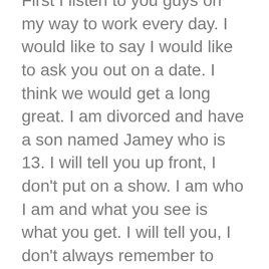First I listen to you guys on my way to work every day. I would like to say I would like to ask you out on a date. I think we would get a long great. I am divorced and have a son named Jamey who is 13. I will tell you up front, I don't put on a show. I am who I am and what you see is what you get. I will tell you, I don't always remember to filter my mouth and can sometimes be loud. I am looking for someone to go out with and have a good time. I do not want to get married again. Once was enough. What ever happens happens. If it is a friendship or develops into something else that's okay to. I am so tired of games. I am over weight but happy with who I am. I will tell you I am about